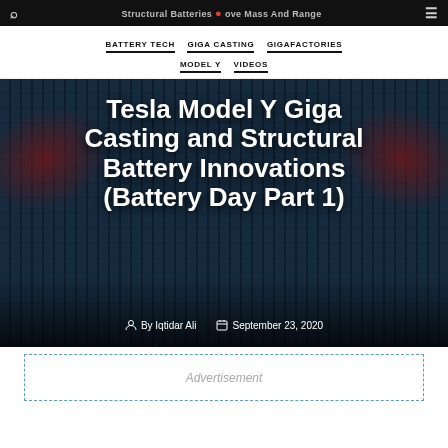Structural Batteries Improve Mass And Range
BATTERY TECH | GIGA CASTING | GIGAFACTORIES | MODEL Y | VIDEOS
Tesla Model Y Giga Casting and Structural Battery Innovations (Battery Day Part 1)
By Iqtidar Ali   September 23, 2020
[Figure (photo): Tesla Battery Day event stage photo with two presenters in front of a large wall of cylindrical battery cells, shown in dark lighting]
Advertisement